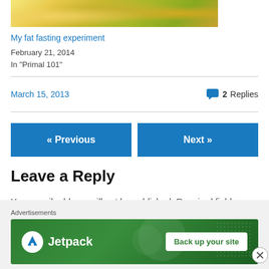[Figure (photo): Partial photo of nuts, oil and food items (cropped at top)]
My fat fasting experiment
February 21, 2014
In "Primal 101"
March 15, 2013
2 Replies
« Previous
Next »
Leave a Reply
Your email address will not be published. Required fields
[Figure (screenshot): Jetpack advertisement banner with green background, Jetpack logo and 'Back up your site' button]
Advertisements